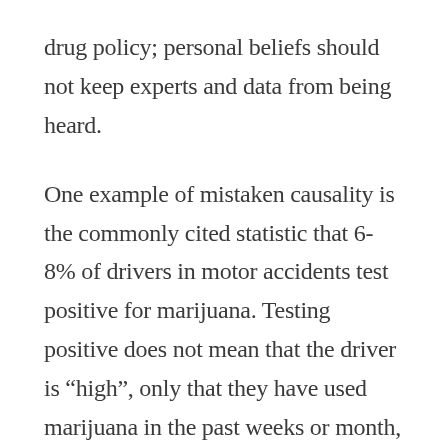drug policy; personal beliefs should not keep experts and data from being heard.
One example of mistaken causality is the commonly cited statistic that 6-8% of drivers in motor accidents test positive for marijuana. Testing positive does not mean that the driver is “high”, only that they have used marijuana in the past weeks or month, depending on the user. Since roughly 7% of the population uses marijuana on a monthly